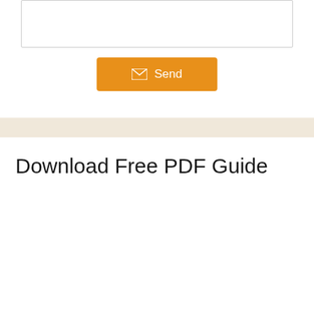[Figure (screenshot): Text area input box for message entry, with a resize handle at the bottom right]
[Figure (screenshot): Orange Send button with envelope/mail icon on the left and 'Send' text]
Download Free PDF Guide